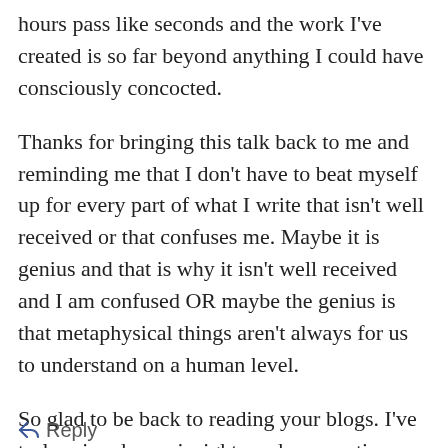hours pass like seconds and the work I've created is so far beyond anything I could have consciously concocted.
Thanks for bringing this talk back to me and reminding me that I don't have to beat myself up for every part of what I write that isn't well received or that confuses me. Maybe it is genius and that is why it isn't well received and I am confused OR maybe the genius is that metaphysical things aren't always for us to understand on a human level.
So glad to be back to reading your blogs. I've truly missed your insights and perspective. Kudos to your genius inspiration.
Reply